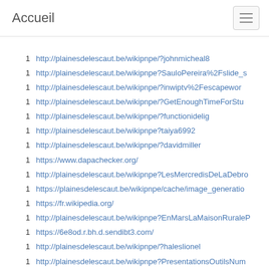Accueil
1  http://plainesdelescaut.be/wikipnpe/?johnmicheal8
1  http://plainesdelescaut.be/wikipnpe?SauloPereira%2Fslide_s
1  http://plainesdelescaut.be/wikipnpe/?inwiptv%2Fescapewor
1  http://plainesdelescaut.be/wikipnpe/?GetEnoughTimeForStu
1  http://plainesdelescaut.be/wikipnpe/?functionidelig
1  http://plainesdelescaut.be/wikipnpe?taiya6992
1  http://plainesdelescaut.be/wikipnpe/?davidmiller
1  https://www.dapachecker.org/
1  http://plainesdelescaut.be/wikipnpe?LesMercredisDeLaDebro
1  https://plainesdelescaut.be/wikipnpe/cache/image_generatio
1  https://fr.wikipedia.org/
1  http://plainesdelescaut.be/wikipnpe?EnMarsLaMaisonRuraleP
1  https://6e8od.r.bh.d.sendibt3.com/
1  http://plainesdelescaut.be/wikipnpe/?haleslionel
1  http://plainesdelescaut.be/wikipnpe?PresentationsOutilsNum
1  https://www.google.nl/
1  http://plainesdelescaut.be/wikipnpe/?alexareed
1  http://plainesdelescaut.be/wikipnpe?CercleDePleineLuneEnP
1  http://plainesdelescaut.be/wikipnpe?WeekEndDuBois4%2Fre
1  http://plainesdelescaut.be/wikipnpe?urdupoetry